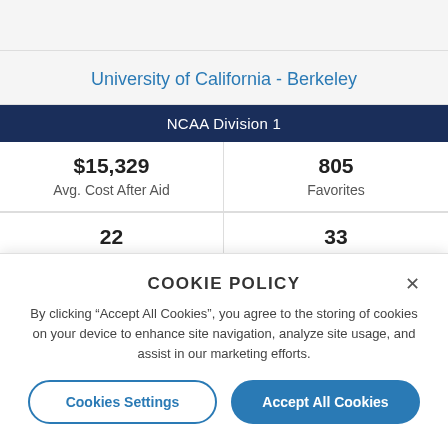University of California - Berkeley
| NCAA Division 1 |
| --- |
| $15,329
Avg. Cost After Aid | 805
Favorites |
| 22
General Rank | 33
Grad Rank |
COOKIE POLICY
By clicking "Accept All Cookies", you agree to the storing of cookies on your device to enhance site navigation, analyze site usage, and assist in our marketing efforts.
Cookies Settings
Accept All Cookies